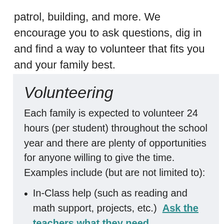patrol, building, and more. We encourage you to ask questions, dig in and find a way to volunteer that fits you and your family best.
Volunteering
Each family is expected to volunteer 24 hours (per student) throughout the school year and there are plenty of opportunities for anyone willing to give the time. Examples include (but are not limited to):
In-Class help (such as reading and math support, projects, etc.)  Ask the teachers what they need